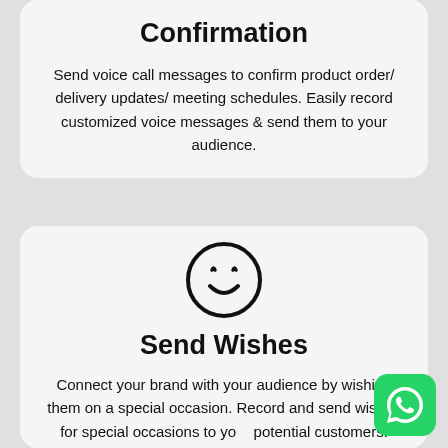Confirmation
Send voice call messages to confirm product order/ delivery updates/ meeting schedules. Easily record customized voice messages & send them to your audience.
[Figure (illustration): Smiling face emoji icon (happy face with closed eyes and smile)]
Send Wishes
Connect your brand with your audience by wishing them on a special occasion. Record and send wishes for special occasions to your potential customers.
[Figure (logo): WhatsApp logo on green rounded square button, positioned bottom right]